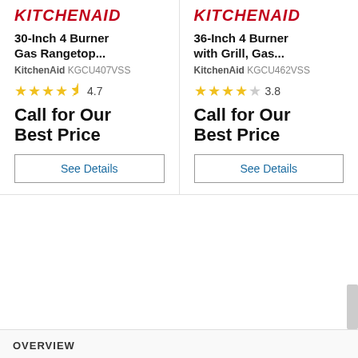[Figure (logo): KitchenAid logo in red italic bold text - left product]
30-Inch 4 Burner Gas Rangetop...
KitchenAid KGCU407VSS
[Figure (infographic): 4.7 star rating with 4 full stars and 1 half star]
Call for Our Best Price
See Details
[Figure (logo): KitchenAid logo in red italic bold text - right product]
36-Inch 4 Burner with Grill, Gas...
KitchenAid KGCU462VSS
[Figure (infographic): 3.8 star rating with 4 full stars and 1 empty star]
Call for Our Best Price
See Details
OVERVIEW